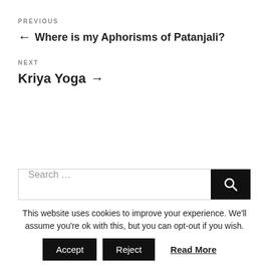PREVIOUS
← Where is my Aphorisms of Patanjali?
NEXT
Kriya Yoga →
Search …
This website uses cookies to improve your experience. We'll assume you're ok with this, but you can opt-out if you wish.
Accept
Reject
Read More